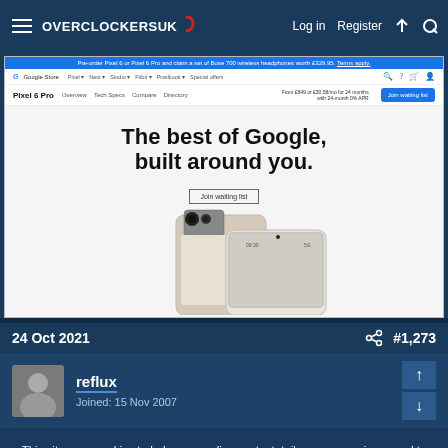Overclockers UK — Log in  Register
[Figure (screenshot): Screenshot of Google Store Pixel 6 Pro product page showing 'The best of Google, built around you.' hero text with a Join waiting list button and Pixel phone images]
24 Oct 2021   #1,273
reflux  Joined: 15 Nov 2007
This site uses cookies to help personalise content, tailor your experience and to keep you logged in if you register. By continuing to use this site, you are consenting to our use of cookies.
✓ Accept  Learn more...